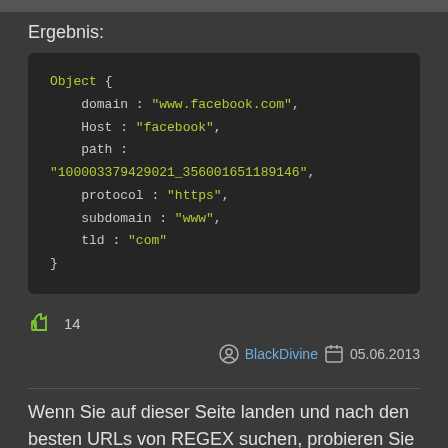Ergebnis:
[Figure (screenshot): Code block showing a JavaScript Object with properties: domain: "www.facebook.com", Host: "facebook", path: "100003379429021_356001651189146", protocol: "https", subdomain: "www", tld: "com"]
14
BlackDivine   05.06.2013
Wenn Sie auf dieser Seite landen und nach den besten URLs von REGEX suchen, probieren Sie diese aus: